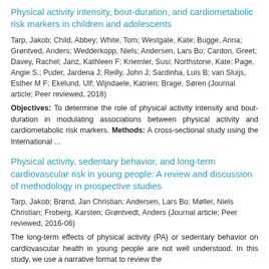Physical activity intensity, bout-duration, and cardiometabolic risk markers in children and adolescents
Tarp, Jakob; Child, Abbey; White, Tom; Westgate, Kate; Bugge, Anna; Grøntved, Anders; Wedderkopp, Niels; Andersen, Lars Bo; Cardon, Greet; Davey, Rachel; Janz, Kathleen F; Kriemler, Susi; Northstone, Kate; Page, Angie S.; Puder, Jardena J; Reilly, John J; Sardinha, Luis B; van Sluijs, Esther M F; Ekelund, Ulf; Wijndaele, Katrien; Brage, Søren (Journal article; Peer reviewed, 2018)
Objectives: To determine the role of physical activity intensity and bout-duration in modulating associations between physical activity and cardiometabolic risk markers. Methods: A cross-sectional study using the International ...
Physical activity, sedentary behavior, and long-term cardiovascular risk in young people: A review and discussion of methodology in prospective studies
Tarp, Jakob; Brønd, Jan Christian; Andersen, Lars Bo; Møller, Niels Christian; Froberg, Karsten; Grøntvedt, Anders (Journal article; Peer reviewed, 2016-06)
The long-term effects of physical activity (PA) or sedentary behavior on cardiovascular health in young people are not well understood. In this study, we use a narrative format to review the